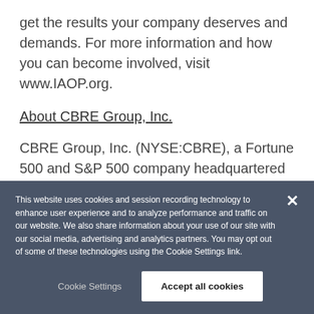get the results your company deserves and demands. For more information and how you can become involved, visit www.IAOP.org.
About CBRE Group, Inc.
CBRE Group, Inc. (NYSE:CBRE), a Fortune 500 and S&P 500 company headquartered in Dallas, is the world's largest commercial real estate services and investment firm (based on 2021 revenue). The
This website uses cookies and session recording technology to enhance user experience and to analyze performance and traffic on our website. We also share information about your use of our site with our social media, advertising and analytics partners. You may opt out of some of these technologies using the Cookie Settings link.